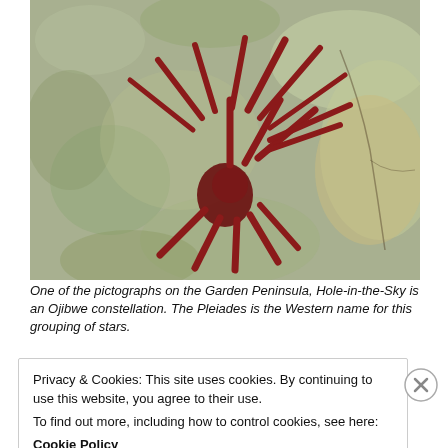[Figure (photo): A close-up photograph of a rock pictograph on the Garden Peninsula showing a red ochre Hole-in-the-Sky Ojibwe constellation figure resembling a spider or starburst shape painted on mottled rock surface.]
One of the pictographs on the Garden Peninsula, Hole-in-the-Sky is an Ojibwe constellation. The Pleiades is the Western name for this grouping of stars.
Privacy & Cookies: This site uses cookies. By continuing to use this website, you agree to their use.
To find out more, including how to control cookies, see here:
Cookie Policy